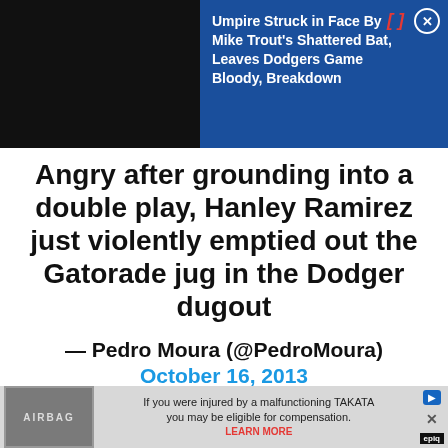[Figure (screenshot): Mobile browser notification overlay: dark/black left panel and dark blue right panel showing headline 'Umpire Struck in Face By Mike Trout's Shattered Bat, Leaves Dodgers Game Bloody, Breakdown' with red bracket icon and close X button]
Angry after grounding into a double play, Hanley Ramirez just violently emptied out the Gatorade jug in the Dodger dugout
— Pedro Moura (@PedroMoura) October 16, 2013
[Figure (screenshot): Advertisement banner: airbag image on left, text 'If you were injured by a malfunctioning TAKATA you may be eligible for compensation. LEARN MORE' with epiq badge]